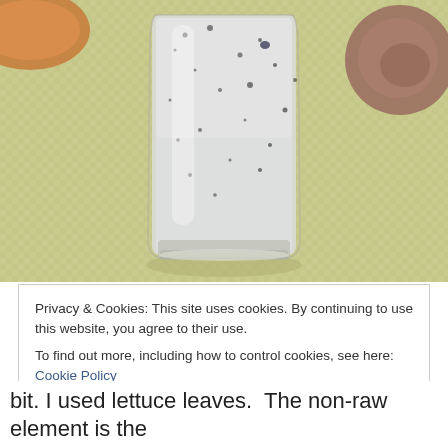[Figure (photo): A tall clear glass filled with a white/grey blended smoothie with dark speckles (likely blueberries or seeds), sitting on a yellow textured surface. A wooden bowl and a rough rock are partially visible in the background.]
Privacy & Cookies: This site uses cookies. By continuing to use this website, you agree to their use.
To find out more, including how to control cookies, see here: Cookie Policy
Close and accept
bit. I used lettuce leaves.  The non-raw element is the